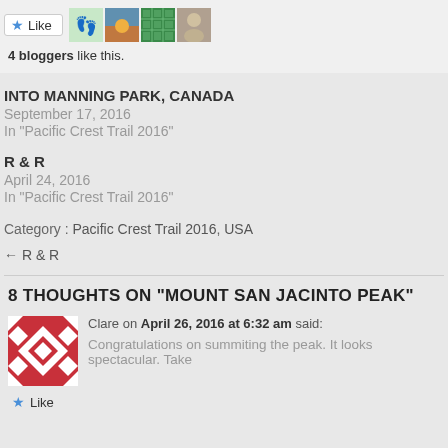[Figure (other): Like button with star icon and four blogger avatar images]
4 bloggers like this.
INTO MANNING PARK,  CANADA
September 17, 2016
In "Pacific Crest Trail 2016"
R & R
April 24, 2016
In "Pacific Crest Trail 2016"
Category :  Pacific Crest Trail 2016, USA
← R & R
8 THOUGHTS ON “MOUNT SAN JACINTO PEAK”
Clare on April 26, 2016 at 6:32 am said:
Congratulations on summiting the peak. It looks spectacular. Take
Like